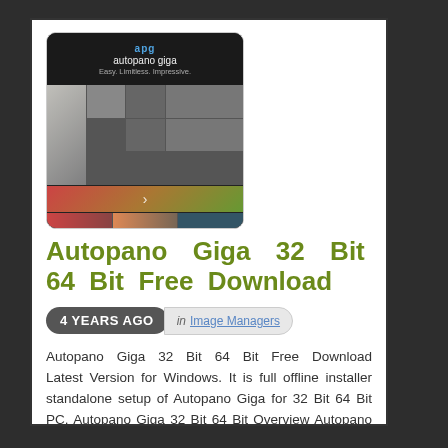[Figure (screenshot): Screenshot of Autopano Giga software showing a panoramic photo stitching application with a grid of images and a landscape photo.]
Autopano Giga 32 Bit 64 Bit Free Download
4 YEARS AGO  in Image Managers
Autopano Giga 32 Bit 64 Bit Free Download Latest Version for Windows. It is full offline installer standalone setup of Autopano Giga for 32 Bit 64 Bit PC. Autopano Giga 32 Bit 64 Bit Overview Autopano Giga is a very handy application that can be used for stitching[...]